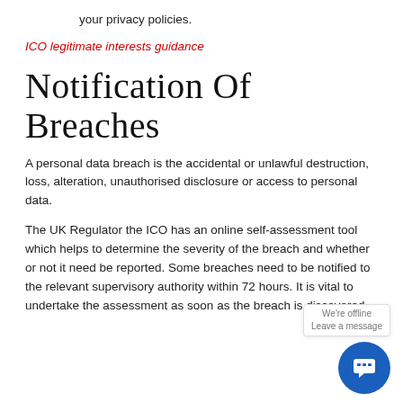your privacy policies.
ICO legitimate interests guidance
Notification of breaches
A personal data breach is the accidental or unlawful destruction, loss, alteration, unauthorised disclosure or access to personal data.
The UK Regulator the ICO has an online self-assessment tool which helps to determine the severity of the breach and whether or not it need be reported. Some breaches need to be notified to the relevant supervisory authority within 72 hours. It is vital to undertake the assessment as soon as the breach is discovered.